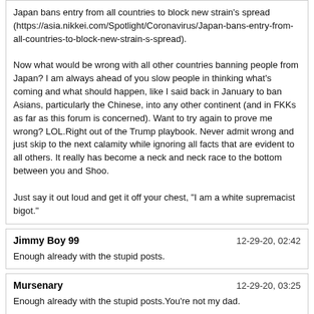Japan bans entry from all countries to block new strain's spread (https://asia.nikkei.com/Spotlight/Coronavirus/Japan-bans-entry-from-all-countries-to-block-new-strain-s-spread).

Now what would be wrong with all other countries banning people from Japan? I am always ahead of you slow people in thinking what's coming and what should happen, like I said back in January to ban Asians, particularly the Chinese, into any other continent (and in FKKs as far as this forum is concerned). Want to try again to prove me wrong? LOL.Right out of the Trump playbook. Never admit wrong and just skip to the next calamity while ignoring all facts that are evident to all others. It really has become a neck and neck race to the bottom between you and Shoo.

Just say it out loud and get it off your chest, "I am a white supremacist bigot."
Jimmy Boy 99 | 12-29-20, 02:42
Enough already with the stupid posts.
Mursenary | 12-29-20, 03:25
Enough already with the stupid posts.You're not my dad.
PaulInZurich | 12-29-20, 03:59
Got it. So you're saying swallowing cum was like swallowing a raw oyster. Good for you!Thumbs up, hilarious thread.
Sirioja | 12-29-20, 07:07
Enough already with the stupid posts.Frustrated jealous have only this, or showing to girls what we write here, as did some here, one even sending by email to LR, when normal process, reason to go in brothels, for me, is to get